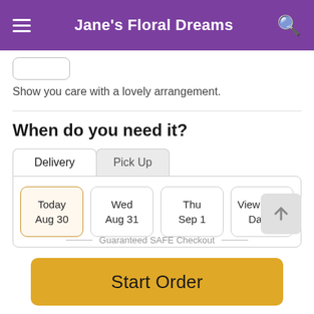Jane's Floral Dreams
Show you care with a lovely arrangement.
When do you need it?
Delivery | Pick Up
Today Aug 30 | Wed Aug 31 | Thu Sep 1 | View More Dates
Guaranteed SAFE Checkout
Start Order